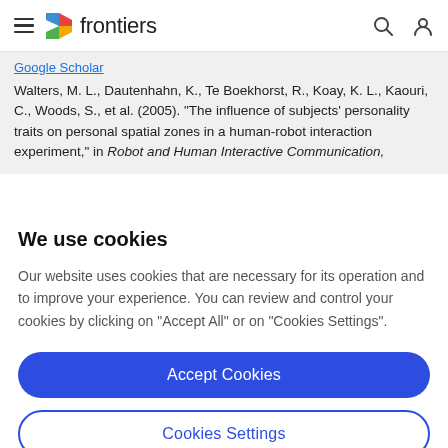frontiers
Google Scholar
Walters, M. L., Dautenhahn, K., Te Boekhorst, R., Koay, K. L., Kaouri, C., Woods, S., et al. (2005). “The influence of subjects’ personality traits on personal spatial zones in a human-robot interaction experiment,” in Robot and Human Interactive Communication,
We use cookies
Our website uses cookies that are necessary for its operation and to improve your experience. You can review and control your cookies by clicking on “Accept All” or on “Cookies Settings”.
Accept Cookies
Cookies Settings